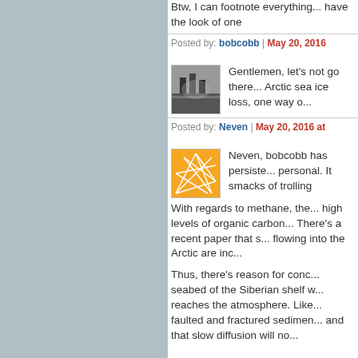Btw, I can footnote everything... have the look of one
Posted by: bobcobb | May 20, 2016
[Figure (photo): Black and white avatar photo of a person near water]
Gentlemen, let's not go there... Arctic sea ice loss, one way o...
Posted by: Neven | May 20, 2016 at
[Figure (illustration): Orange abstract network/web pattern avatar icon]
Neven, bobcobb has persiste... personal. It smacks of trolling
With regards to methane, the... high levels of organic carbon... There's a recent paper that s... flowing into the Arctic are inc...
Thus, there's reason for conc... seabed of the Siberian shelf w... reaches the atmosphere. Like... faulted and fractured sedimen... and that slow diffusion will no...